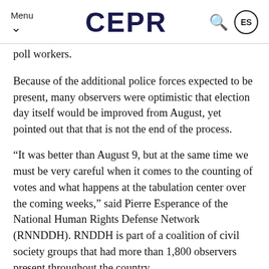Menu CEPR ES
poll workers.
Because of the additional police forces expected to be present, many observers were optimistic that election day itself would be improved from August, yet pointed out that that is not the end of the process.
“It was better than August 9, but at the same time we must be very careful when it comes to the counting of votes and what happens at the tabulation center over the coming weeks,” said Pierre Esperance of the National Human Rights Defense Network (RNNDDH). RNDDH is part of a coalition of civil society groups that had more than 1,800 observers present throughout the country.